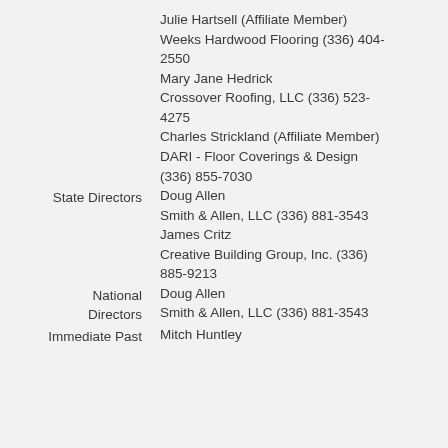Julie Hartsell (Affiliate Member)
Weeks Hardwood Flooring (336) 404-2550
Mary Jane Hedrick
Crossover Roofing, LLC (336) 523-4275
Charles Strickland (Affiliate Member)
DARI - Floor Coverings & Design
(336) 855-7030
State Directors
Doug Allen
Smith & Allen, LLC (336) 881-3543
James Critz
Creative Building Group, Inc. (336) 885-9213
National Directors
Doug Allen
Smith & Allen, LLC (336) 881-3543
Immediate Past
Mitch Huntley